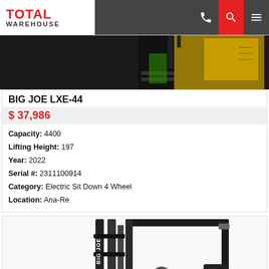[Figure (logo): Total Warehouse logo with red TOTAL text and dark WAREHOUSE text]
[Figure (photo): Forklift product image - yellow and black forklift viewed from the side, top portion visible]
BIG JOE LXE-44
$ 37,986
Capacity: 4400
Lifting Height: 197
Year: 2022
Serial #: 2311100914
Category: Electric Sit Down 4 Wheel
Location: Ana-Re
[Figure (photo): Black forklift (Big Joe branded) viewed from the front-side, showing mast, overhead guard, steering wheel and seat]